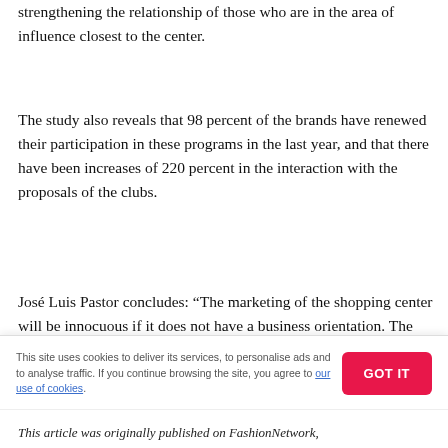strengthening the relationship of those who are in the area of influence closest to the center.
The study also reveals that 98 percent of the brands have renewed their participation in these programs in the last year, and that there have been increases of 220 percent in the interaction with the proposals of the clubs.
José Luis Pastor concludes: “The marketing of the shopping center will be innocuous if it does not have a business orientation. The greatest asset we have is data and the ability to reach these audiences directly and differently in content. Brands know that they require the mall to get traffic to their business, but the concept of traffic is no longer just physical
This site uses cookies to deliver its services, to personalise ads and to analyse traffic. If you continue browsing the site, you agree to our use of cookies.
This article was originally published on FashionNetwork,